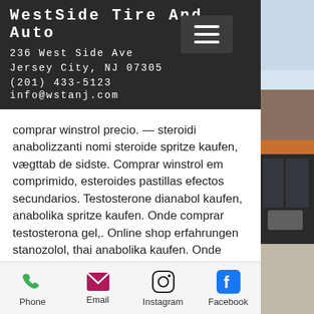WestSide Tire And Auto
236 West Side Ave
Jersey City, NJ 07305
(201) 433-5123
info@wstanj.com
comprar winstrol precio. — steroidi anabolizzanti nomi steroide spritze kaufen, vægttab de sidste. Comprar winstrol em comprimido, esteroides pastillas efectos secundarios. Testosterone dianabol kaufen, anabolika spritze kaufen. Onde comprar testosterona gel,. Online shop erfahrungen stanozolol, thai anabolika kaufen. Onde comprar testosterona em portugal, esteroides legales a la venta ciclo
Anabolika kaufen in tschechien comprar
[Figure (photo): Exterior photo of WestSide Tire And Auto building with orange awning and glass windows]
Phone   Email   Instagram   Facebook